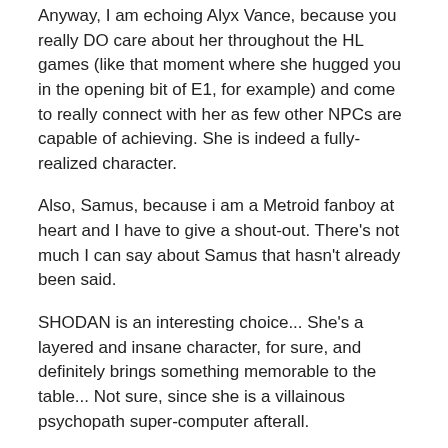Anyway, I am echoing Alyx Vance, because you really DO care about her throughout the HL games (like that moment where she hugged you in the opening bit of E1, for example) and come to really connect with her as few other NPCs are capable of achieving. She is indeed a fully-realized character.
Also, Samus, because i am a Metroid fanboy at heart and I have to give a shout-out. There's not much I can say about Samus that hasn't already been said.
SHODAN is an interesting choice... She's a layered and insane character, for sure, and definitely brings something memorable to the table... Not sure, since she is a villainous psychopath super-computer afterall.
As for what -I- prefer?
Well, I said I'm a Metroid fanboy, and I gotta say that that model is always a good thing if used right.
One extreme that I'd like to avoid is like the female characters in any David Eddings' novels (read them!!!!) where they are so strong and independent it just seems that no matter what the guys do they are pretty hen-pecked all the time (kinda makes sense considering Davo's